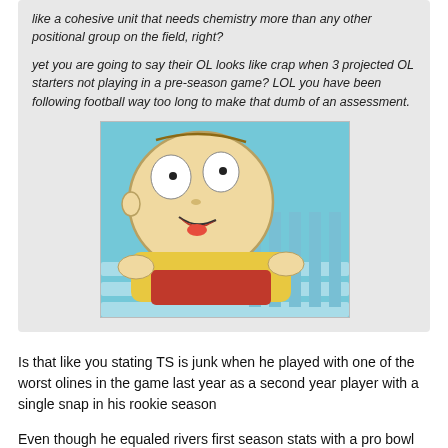like a cohesive unit that needs chemistry more than any other positional group on the field, right?
yet you are going to say their OL looks like crap when 3 projected OL starters not playing in a pre-season game? LOL you have been following football way too long to make that dumb of an assessment.
[Figure (illustration): Animated cartoon character (Stewie Griffin from Family Guy) lying face-down on what appears to be a crib or bed with blue stripes, looking dazed or exhausted.]
Is that like you stating TS is junk when he played with one of the worst olines in the game last year as a second year player with a single snap in his rookie season
Even though he equaled rivers first season stats with a pro bowl online and hof rb